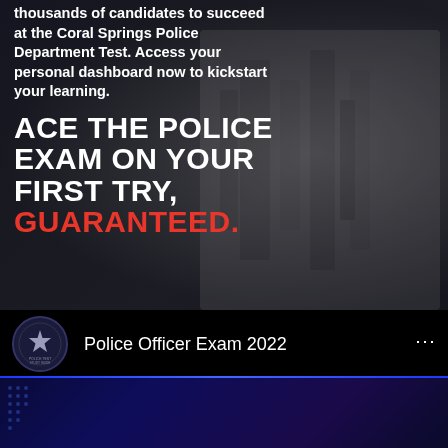thousands of candidates to succeed at the Coral Springs Police Department Test. Access your personal dashboard now to kickstart your learning.
ACE THE POLICE EXAM ON YOUR FIRST TRY, GUARANTEED.
[Figure (screenshot): Police Officer Exam 2022 channel/page black bar with logo]
ANY REGISTERED COURSE
25% off LIMITED TIME PROMOTION THROUGH AUGUST 11-18
Promotional Code: POLICE25